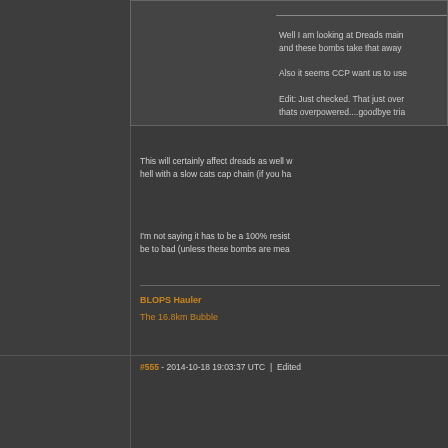Well I am looking at Dreads main and these bombs take that away
Also it seems CCP want us to use
Edit: Just checked. That just over thats overpowered....goodbye tria
This will certainly affect dreads as well w hell with a slow cats cap chain (if you ha
I'm not saying it has to be a 100% resist be to bad (unless these bombs are mea
BLOPS Hauler
The 16.8km Bubble
#555 - 2014-10-18 19:03:37 UTC | Edited